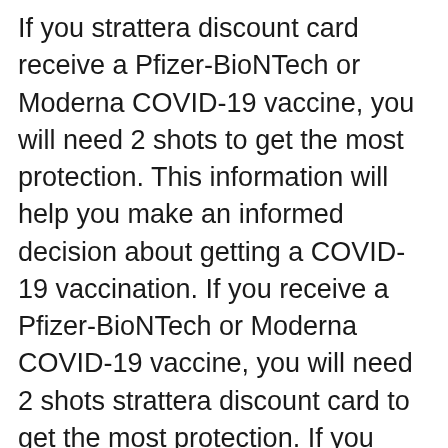If you strattera discount card receive a Pfizer-BioNTech or Moderna COVID-19 vaccine, you will need 2 shots to get the most protection. This information will help you make an informed decision about getting a COVID-19 vaccination. If you receive a Pfizer-BioNTech or Moderna COVID-19 vaccine, you will need 2 shots strattera discount card to get the most protection. If you receive a Pfizer-BioNTech or Moderna COVID-19 vaccine, you will need 2 shots to get the most protection.
This information will help you prepare for your COVID-19 strattera discount card vaccination. This information will help you make an informed